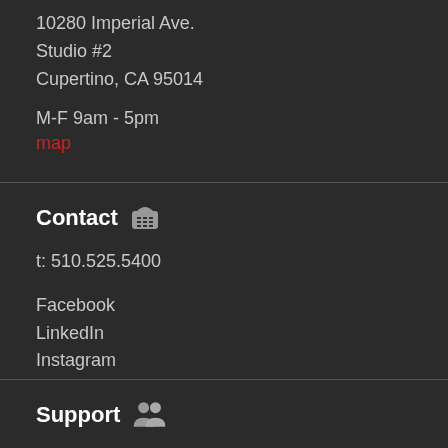10280 Imperial Ave.
Studio #2
Cupertino, CA 95014
M-F 9am - 5pm
map
Contact
t: 510.525.5400
Facebook
LinkedIn
Instagram
Support